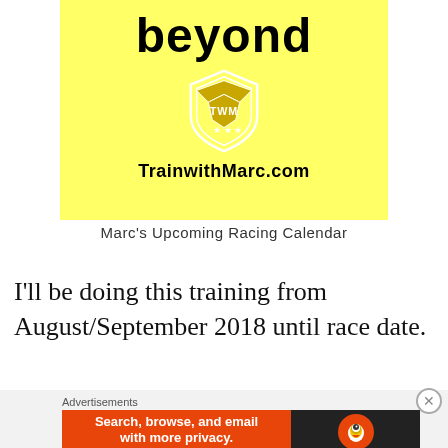[Figure (logo): Yellow banner with 'beyond' text, TWM shield logo, and 'TrainwithMarc.com' text on yellow background]
Marc's Upcoming Racing Calendar
I'll be doing this training from August/September 2018 until race date.
Advertisements
[Figure (screenshot): DuckDuckGo advertisement banner: orange section with 'Search, browse, and email with more privacy. All in One Free App' and dark section with DuckDuckGo logo]